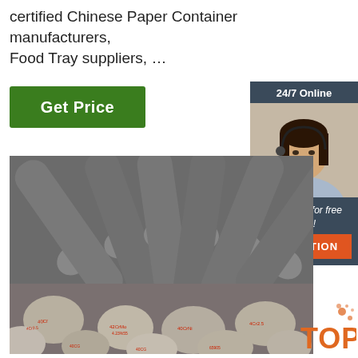certified Chinese Paper Container manufacturers, Food Tray suppliers, …
Get Price
24/7 Online
[Figure (photo): Photo of a customer service representative with headset, smiling]
Click here for free chat !
QUOTATION
[Figure (photo): Photo of steel round bars/rods stacked together with red Chinese markings on the ends]
[Figure (logo): Orange TOP logo with splatter dots in the bottom right corner]